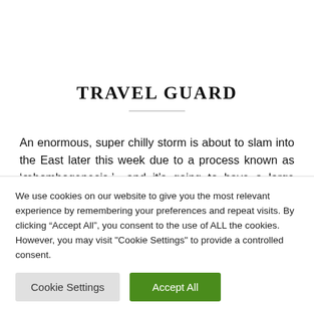TRAVEL GUARD
An enormous, super chilly storm is about to slam into the East later this week due to a process known as ‘œbombogenesis,’  and it’s going to have a large influence
We use cookies on our website to give you the most relevant experience by remembering your preferences and repeat visits. By clicking “Accept All”, you consent to the use of ALL the cookies. However, you may visit "Cookie Settings" to provide a controlled consent.